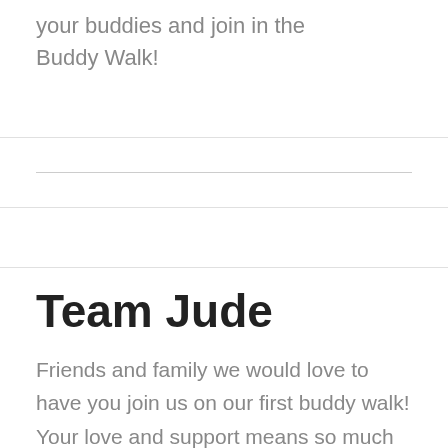your buddies and join in the Buddy Walk!
Team Jude
Friends and family we would love to have you join us on our first buddy walk! Your love and support means so much to us.